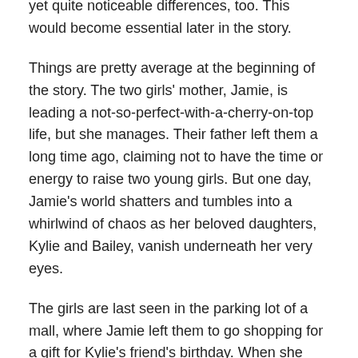yet quite noticeable differences, too. This would become essential later in the story.
Things are pretty average at the beginning of the story. The two girls' mother, Jamie, is leading a not-so-perfect-with-a-cherry-on-top life, but she manages. Their father left them a long time ago, claiming not to have the time or energy to raise two young girls. But one day, Jamie's world shatters and tumbles into a whirlwind of chaos as her beloved daughters, Kylie and Bailey, vanish underneath her very eyes.
The girls are last seen in the parking lot of a mall, where Jamie left them to go shopping for a gift for Kylie's friend's birthday. When she gets back, no traces of them remain, and she begins to become frantic.
But here, in shining armor, rise the heroines of the thriller.